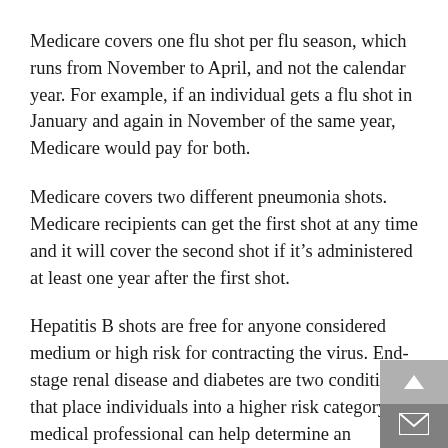Medicare covers one flu shot per flu season, which runs from November to April, and not the calendar year. For example, if an individual gets a flu shot in January and again in November of the same year, Medicare would pay for both.
Medicare covers two different pneumonia shots. Medicare recipients can get the first shot at any time and it will cover the second shot if it's administered at least one year after the first shot.
Hepatitis B shots are free for anyone considered medium or high risk for contracting the virus. End-stage renal disease and diabetes are two conditions that place individuals into a higher risk category. A medical professional can help determine an individual's risk level.